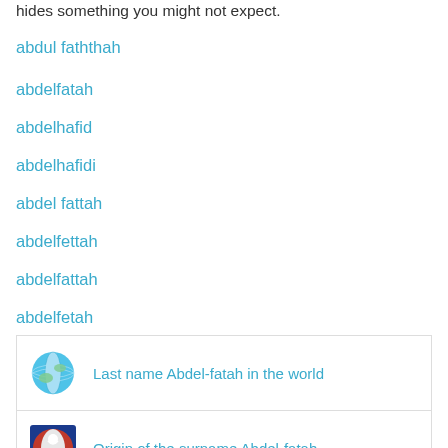hides something you might not expect.
abdul faththah
abdelfatah
abdelhafid
abdelhafidi
abdel fattah
abdelfettah
abdelfattah
abdelfetah
Last name Abdel-fatah in the world
Origin of the surname Abdel-fatah
Coat of arms of Abdel-fatah